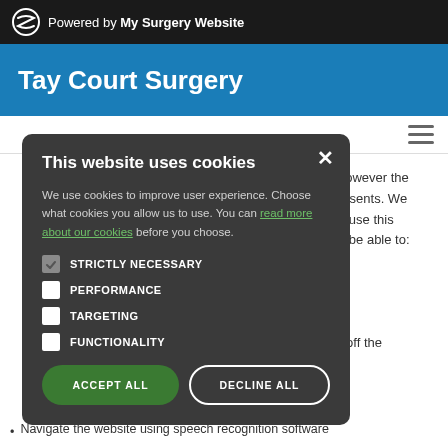Powered by My Surgery Website
Tay Court Surgery
[Figure (screenshot): Cookie consent modal dialog on medical practice website with options: Strictly Necessary (checked), Performance, Targeting, Functionality checkboxes, and Accept All / Decline All buttons]
however the resents. We o use this d be able to:
nts ng off the
oard Navigate the website using speech recognition software